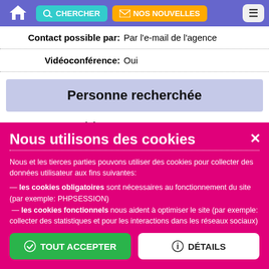CHERCHER | NOS NOUVELLES
Contact possible par: Par l'e-mail de l'agence
Vidéoconférence: Oui
Personne recherchée
Age minimum: 45 ans
Age maximum: 68 ans
Mes souhaits: I would like to meet a man who respects himself and other
Nous utilisons des cookies
Nous et les tierces parties pouvons utiliser des cookies pour collecter des données utilisateur aux fins suivantes:
— les cookies obligatoires sont nécessaires au fonctionnement du site (par exemple: PHPSESSION)
— les cookies fonctionnels nous aident à optimiser le site (par exemple: collecter des statistiques et pour les interactions dans les réseaux sociaux)
TOUT ACCEPTER | DÉTAILS